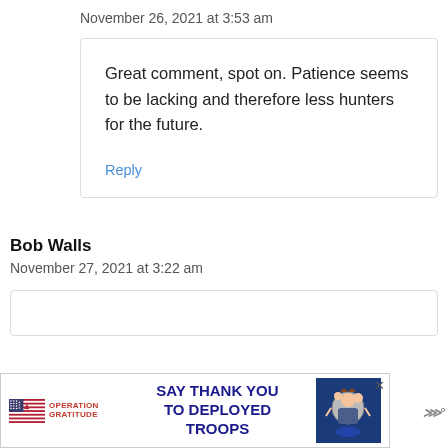November 26, 2021 at 3:53 am
Great comment, spot on. Patience seems to be lacking and therefore less hunters for the future.
Reply
Bob Walls
November 27, 2021 at 3:22 am
[Figure (infographic): Operation Gratitude advertisement: 'SAY THANK YOU TO DEPLOYED TROOPS' with patriotic logo and cartoon soldier mascot]